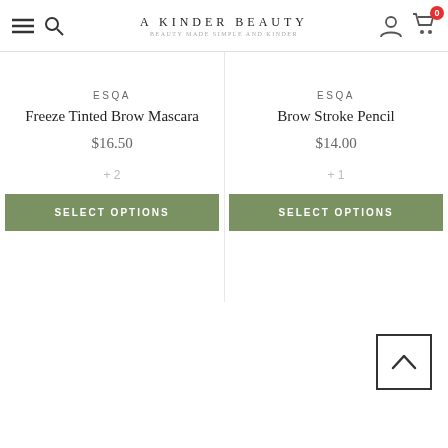A KINDER BEAUTY — BEAUTY MADE SIMPLE AND KINDER
ESQA
Freeze Tinted Brow Mascara
$16.50
+ 2
SELECT OPTIONS
ESQA
Brow Stroke Pencil
$14.00
+ 1
SELECT OPTIONS